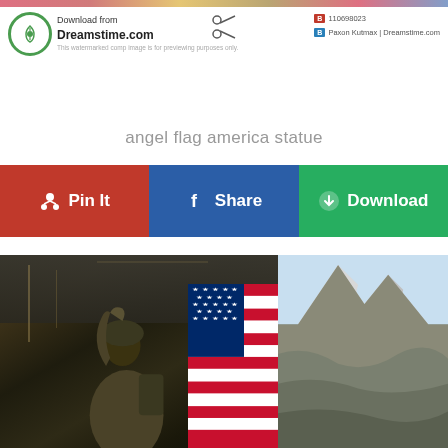[Figure (screenshot): Dreamstime.com watermark bar with logo, scissors icon, image ID 110698023, and author Paxon Kutmax / Dreamstime.com]
angel flag america statue
Pin It
Share
Download
[Figure (photo): Soldier inside military aircraft holding American flag with mountain landscape visible outside]